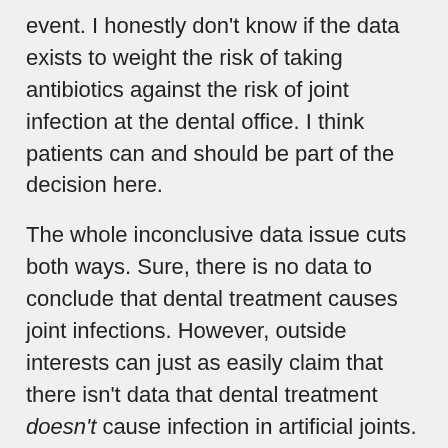event. I honestly don't know if the data exists to weight the risk of taking antibiotics against the risk of joint infection at the dental office. I think patients can and should be part of the decision here.
The whole inconclusive data issue cuts both ways. Sure, there is no data to conclude that dental treatment causes joint infections. However, outside interests can just as easily claim that there isn't data that dental treatment doesn't cause infection in artificial joints. As a profession, we're in the exact same spot that we were before these so called recommendations came out. We're still going to cover our asses for the wrong reasons. It wasn't good medicine before and it still isn't.
What do I think should happen? I think the ADA and AAOS should sound off like they've got a pair. I think they should put a statement out that they're going to help fund